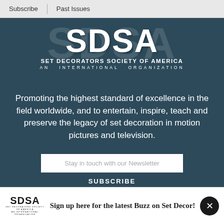Subscribe | Past Issues
[Figure (logo): SDSA - Set Decorators Society of America logo with large SDSA letters and subtitle 'An International Organization' on dark teal background]
Promoting the highest standard of excellence in the field worldwide, and to entertain, inspire, teach and preserve the legacy of set decoration in motion pictures and television.
Stay in touch with our Newsletter
SUBSCRIBE
Sign up here for the latest Buzz on Set Decor!